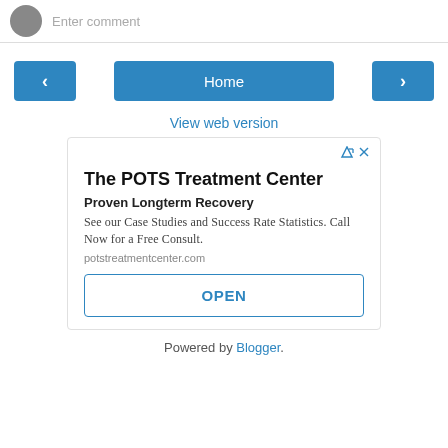[Figure (screenshot): Top bar with avatar icon and 'Enter comment' placeholder text]
[Figure (screenshot): Navigation row with left arrow button, Home button, and right arrow button]
View web version
[Figure (infographic): Advertisement for The POTS Treatment Center. Headline: The POTS Treatment Center. Subheading: Proven Longterm Recovery. Body: See our Case Studies and Success Rate Statistics. Call Now for a Free Consult. URL: potstreatmentcenter.com. Button: OPEN]
Powered by Blogger.